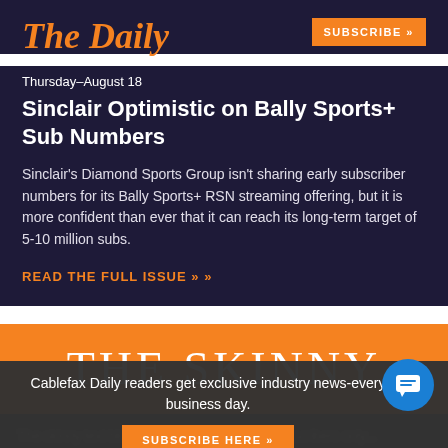The Daily
SUBSCRIBE »
Thursday–August 18
Sinclair Optimistic on Bally Sports+ Sub Numbers
Sinclair's Diamond Sports Group isn't sharing early subscriber numbers for its Bally Sports+ RSN streaming offering, but it is more confident than ever that it can reach its long-term target of 5-10 million subs.
READ THE FULL ISSUE »
THE SKINNY
Cablefax Daily readers get exclusive industry news-every business day.
SUBSCRIBE HERE »